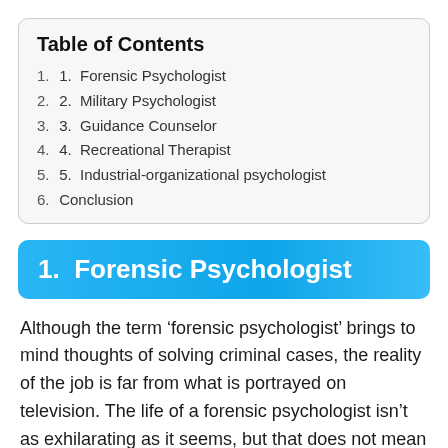Table of Contents
1. 1.  Forensic Psychologist
2. 2.  Military Psychologist
3. 3.  Guidance Counselor
4. 4.  Recreational Therapist
5. 5.  Industrial-organizational psychologist
6. Conclusion
1.  Forensic Psychologist
Although the term ‘forensic psychologist’ brings to mind thoughts of solving criminal cases, the reality of the job is far from what is portrayed on television. The life of a forensic psychologist isn’t as exhilarating as it seems, but that does not mean you won’t learn anything.